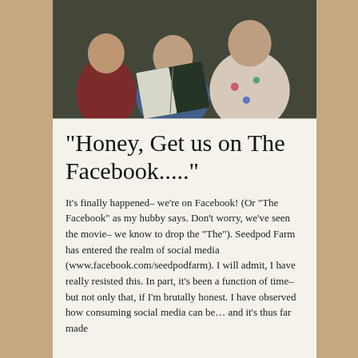[Figure (photo): Children reading a book together, sitting on the floor in pajamas]
"Honey, Get us on The Facebook....."
It's finally happened– we're on Facebook! (Or "The Facebook" as my hubby says. Don't worry, we've seen the movie– we know to drop the "The"). Seedpod Farm has entered the realm of social media (www.facebook.com/seedpodfarm). I will admit, I have really resisted this. In part, it's been a function of time– but not only that, if I'm brutally honest. I have observed how consuming social media can be… and it's thus far made